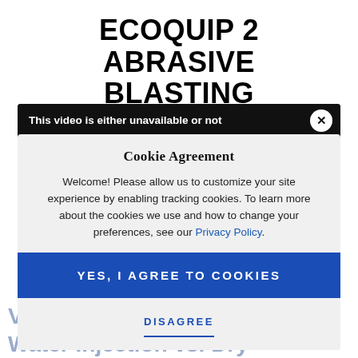ECOQUIP 2 ABRASIVE BLASTING EQUIPMENT
[Figure (screenshot): Video player error overlay showing 'This video is either unavailable or not supported in this browser.' with error code MEDIA_ERR_SRC_NOT_SUPPORTED and a close button]
Cookie Agreement
Welcome! Please allow us to customize your site experience by enabling tracking cookies. To learn more about the cookies we use and how to change your preferences, see our Privacy Policy.
YES, I AGREE TO COOKIES
DISAGREE
Vapor Abrasive Blasting vs. Water Injection vs. Dry